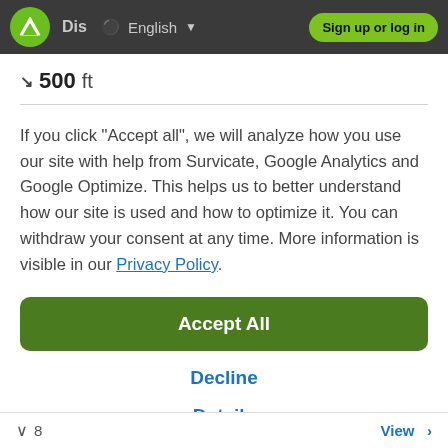Dis  English  Sign up or log in
↘ 500 ft
If you click "Accept all", we will analyze how you use our site with help from Survicate, Google Analytics and Google Optimize. This helps us to better understand how our site is used and how to optimize it. You can withdraw your consent at any time. More information is visible in our Privacy Policy.
Accept All
Decline
Details
∨ 8   View >